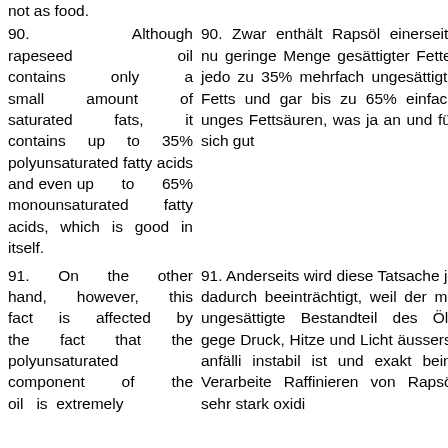not as food.
90. Although rapeseed oil contains only a small amount of saturated fats, it contains up to 35% polyunsaturated fatty acids and even up to 65% monounsaturated fatty acids, which is good in itself.
90. Zwar enthält Rapsöl einerseits nur eine geringe Menge gesättigter Fette, jedoch bis zu 35% mehrfach ungesättigte Fettsäuren und gar bis zu 65% einfach ungesättigte Fettsäuren, was ja an und für sich gut ist.
91. On the other hand, however, this fact is affected by the fact that the polyunsaturated component of the oil is extremely
91. Anderseits wird diese Tatsache jedoch dadurch beeinträchtigt, weil der mehrfach ungesättigte Bestandteil des Öls gegenüber Druck, Hitze und Licht äusserst anfällig und instabil ist und exakt beim Verarbeiten und Raffinieren von Rapsöl sehr stark oxidiert.